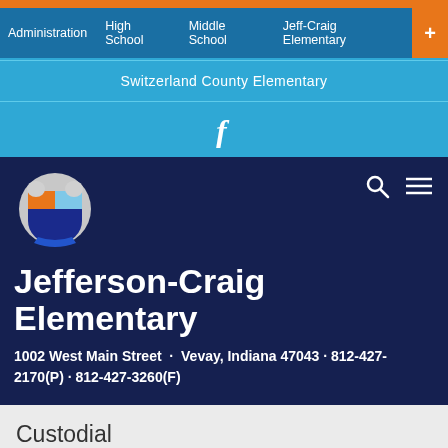Administration | High School | Middle School | Jeff-Craig Elementary
Switzerland County Elementary
[Figure (logo): Facebook 'f' icon in white on light blue background]
[Figure (logo): Jefferson-Craig Elementary school crest/shield logo with rams]
Jefferson-Craig Elementary
1002 West Main Street · Vevay, Indiana 47043 · 812-427-2170(P) · 812-427-3260(F)
Custodial